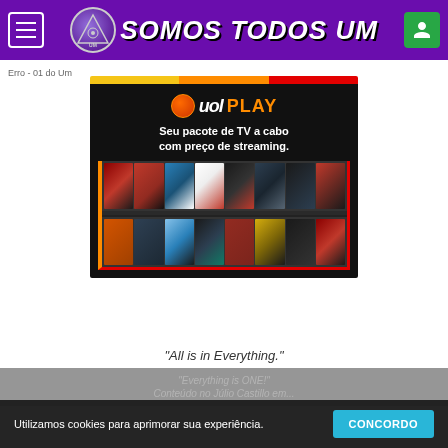SOMOS TODOS UM
Erro - 01 do Um
[Figure (screenshot): UOL PLAY advertisement showing streaming service. Text: 'Seu pacote de TV a cabo com preço de streaming.' with movie thumbnails grid.]
"All is in Everything."
"Everything is ONE!" - Conteúdo no Júlio Castillo em...
Utilizamos cookies para aprimorar sua experiência.